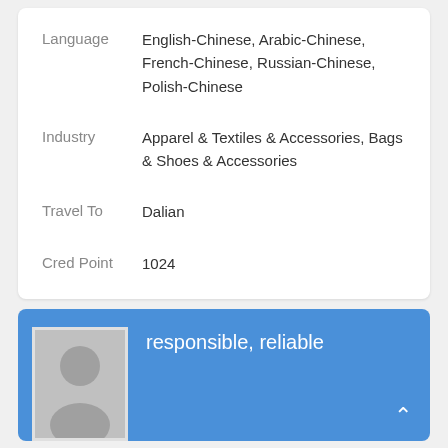Language: English-Chinese, Arabic-Chinese, French-Chinese, Russian-Chinese, Polish-Chinese
Industry: Apparel & Textiles & Accessories, Bags & Shoes & Accessories
Travel To: Dalian
Cred Point: 1024
responsible, reliable